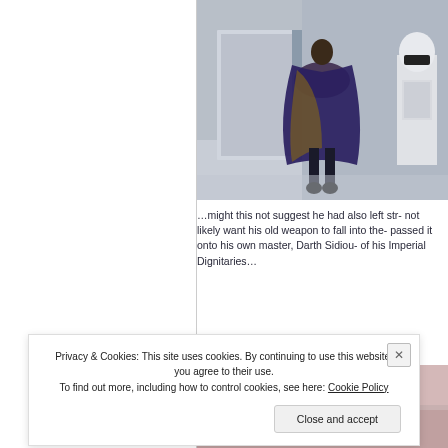[Figure (photo): A person in a dark cape and clothes walking in a corridor, with a Stormtrooper visible at the right edge. Scene from Star Wars.]
…might this not suggest he had also left str- not likely want his old weapon to fall into the- passed it onto his own master, Darth Sidiou- of his Imperial Dignitaries…
[Figure (photo): Partial view of a second Star Wars scene image, cut off at bottom of page.]
Privacy & Cookies: This site uses cookies. By continuing to use this website, you agree to their use.
To find out more, including how to control cookies, see here: Cookie Policy